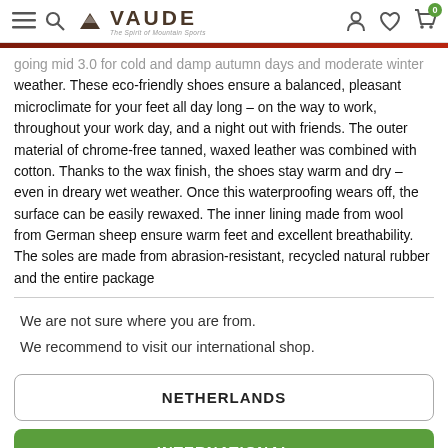VAUDE – The Spirit of Mountain Sports
going mid 3.0 for cold and damp autumn days and moderate winter weather. These eco-friendly shoes ensure a balanced, pleasant microclimate for your feet all day long – on the way to work, throughout your work day, and a night out with friends. The outer material of chrome-free tanned, waxed leather was combined with cotton. Thanks to the wax finish, the shoes stay warm and dry – even in dreary wet weather. Once this waterproofing wears off, the surface can be easily rewaxed. The inner lining made from wool from German sheep ensure warm feet and excellent breathability. The soles are made from abrasion-resistant, recycled natural rubber and the entire package
We are not sure where you are from. We recommend to visit our international shop.
NETHERLANDS
INTERNATIONAL